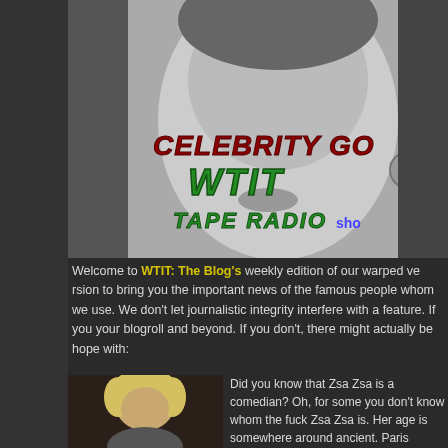[Figure (photo): Celebrity Gossip WTIT Tape Radio show header image with woman's face in black and white and colorful logo text]
Welcome to WTIT: The Blog's weekly edition of our warped version to bring you the important news of the famous people whom we us... We don't let journalistic integrity interfere with a feature. If you your blogroll and beyond. If you don't, there might actually be ho... with:
[Figure (photo): Photo of an older blonde woman (Zsa Zsa Gabor)]
Did you know that Zsa Z... comedian? Oh, for some... know whom the fuck Zs... age is somewhere arou... Paris Hilton. She's a sta...